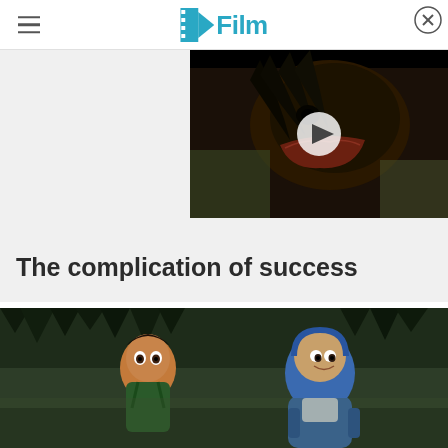/Film
[Figure (screenshot): Video player overlay showing a dark creature/monster with open mouth, with a play button in the center. Close (X) button in top right corner.]
The complication of success
[Figure (photo): Animated characters from what appears to be Lightyear or similar Pixar film — a young character and a space ranger character in a dark jungle/cave setting.]